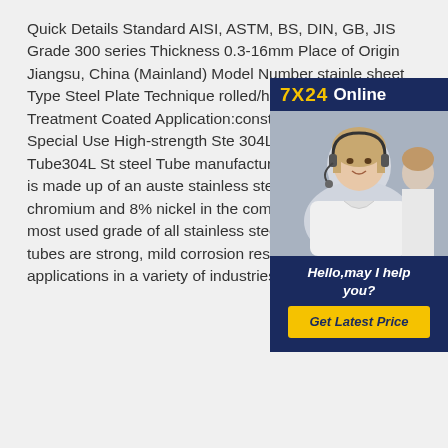Quick Details Standard AISI, ASTM, BS, DIN, GB, JIS Grade 300 series Thickness 0.3-16mm Place of Origin Jiangsu, China (Mainland) Model Number stainle sheet Type Steel Plate Technique rolled/hot rolled Surface Treatment Coated Application:construction,hardware etc Special Use High-strength Ste 304L Stainless steel Tube304L St steel Tube manufacturer Stainles 304L Tube is made up of an auste stainless steel that has 18% chromium and 8% nickel in the composition. This is the most used grade of all stainless steels in the world. The tubes are strong, mild corrosion resistant and have applications in a variety of industries.
[Figure (other): Online chat widget with agent photo, '7X24 Online' header in navy/yellow, 'Hello, may I help you?' text, and 'Get Latest Price' yellow button]